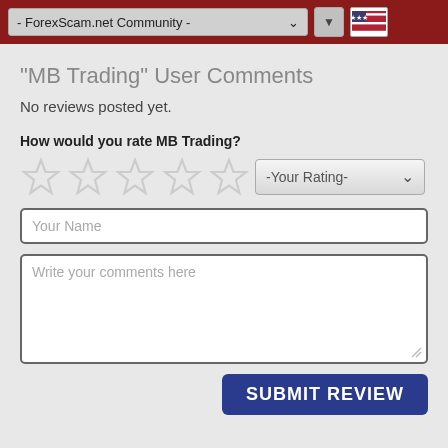- ForexScam.net Community -
"MB Trading" User Comments
No reviews posted yet.
How would you rate MB Trading?
[Figure (other): Five empty/outline star rating icons followed by a dropdown selector labeled '-Your Rating-']
Your Name
Write your comments here
SUBMIT REVIEW